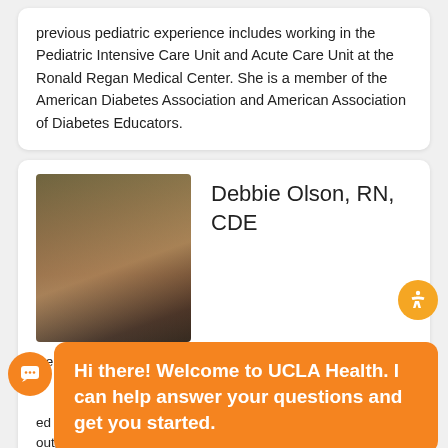previous pediatric experience includes working in the Pediatric Intensive Care Unit and Acute Care Unit at the Ronald Regan Medical Center. She is a member of the American Diabetes Association and American Association of Diabetes Educators.
[Figure (photo): Portrait photo of Debbie Olson, a woman with dark curly hair, smiling, wearing a colorful patterned top, outdoors background.]
Debbie Olson, RN, CDE
Debbie O[...] to [...] ed [...] outpatient areas. She has enjoyed providing Diabetes Education to adults, children, and families living with diabetes since 2013
Hi there! Welcome to UCLA Health. I can help answer your questions and get you started.